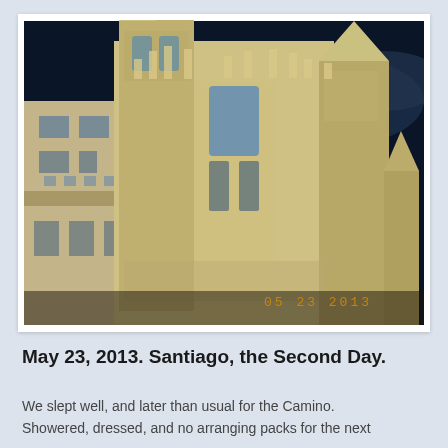[Figure (photo): Night photograph of Santiago de Compostela Cathedral illuminated against a deep blue sky with the moon visible through clouds. Date stamp '05 23 2013' in orange bottom right.]
May 23, 2013. Santiago, the Second Day.
We slept well, and later than usual for the Camino. Showered, dressed, and no arranging packs for the next